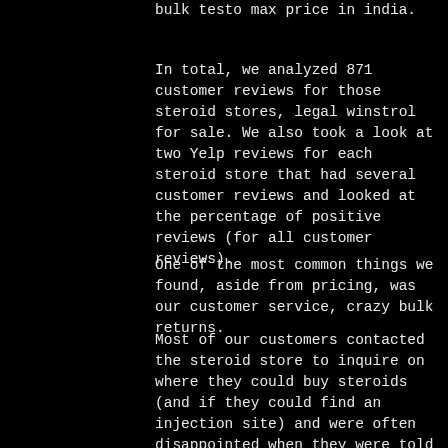bulk testo max price in india.
In total, we analyzed 871 customer reviews for those steroid stores, legal winstrol for sale. We also took a look at two Yelp reviews for each steroid store that had several customer reviews and looked at the percentage of positive reviews (for all customer reviews).
One of the most common things we found, aside from pricing, was our customer service, crazy bulk returns.
Most of our customers contacted the steroid store to inquire on where they could buy steroids (and if they could find an injection site) and were often disappointed when they were told they had to purchase a steroid kit. This seems strange when looking at pricing on most other steroid sites, where kits go for $50, crazybulk romania. In fact, the only